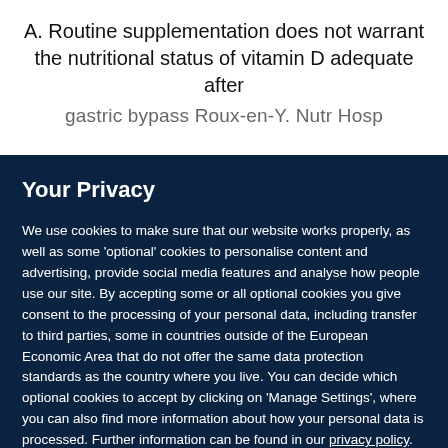A. Routine supplementation does not warrant the nutritional status of vitamin D adequate after gastric bypass Roux-en-Y. Nutr Hosp
Your Privacy
We use cookies to make sure that our website works properly, as well as some 'optional' cookies to personalise content and advertising, provide social media features and analyse how people use our site. By accepting some or all optional cookies you give consent to the processing of your personal data, including transfer to third parties, some in countries outside of the European Economic Area that do not offer the same data protection standards as the country where you live. You can decide which optional cookies to accept by clicking on 'Manage Settings', where you can also find more information about how your personal data is processed. Further information can be found in our privacy policy.
Accept all cookies
Manage preferences